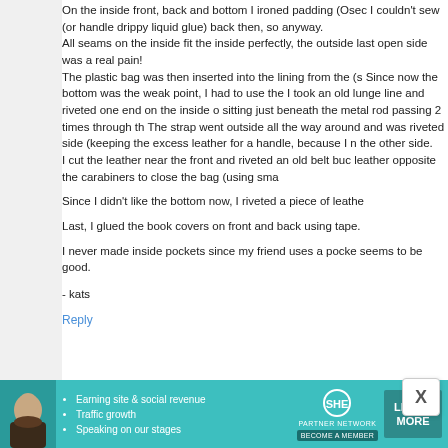On the inside front, back and bottom I ironed padding (Osec I couldn't sew (or handle drippy liquid glue) back then, so anyway.
All seams on the inside fit the inside perfectly, the outside last open side was a real pain!
The plastic bag was then inserted into the lining from the (s Since now the bottom was the weak point, I had to use the I took an old lunge line and riveted one end on the inside o sitting just beneath the metal rod passing 2 times through th The strap went outside all the way around and was riveted side (keeping the excess leather for a handle, because I n the other side.
I cut the leather near the front and riveted an old belt buc leather opposite the carabiners to close the bag (using sma
Since I didn't like the bottom now, I riveted a piece of leathe
Last, I glued the book covers on front and back using tape.
I never made inside pockets since my friend uses a pocke seems to be good.
- kats
Reply
[Figure (infographic): SHE Partner Network advertisement banner with teal background, woman photo, bullet points: Earning site & social revenue, Traffic growth, Speaking on our stages, SHE logo circle, LEARN MORE button, BECOME A MEMBER text]